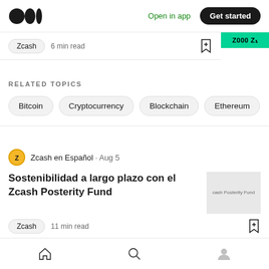Medium logo | Open in app | Get started
Zcash  6 min read
RELATED TOPICS
Bitcoin
Cryptocurrency
Blockchain
Ethereum
Zcash en Español · Aug 5
Sostenibilidad a largo plazo con el Zcash Posterity Fund
Zcash  11 min read
Home | Search | Profile